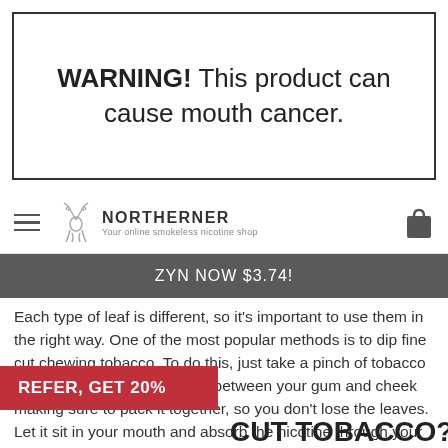WARNING! This product can cause mouth cancer.
[Figure (logo): Northerner logo with deer antler icon and tagline 'Your online smokeless nicotine shop']
ZYN NOW $3.74!
Each type of leaf is different, so it's important to use them in the right way. One of the most popular methods is to dip fine cut chewing tobacco. To do this, just take a pinch of tobacco from the tin. Then, place this between your gum and cheek making sure to pack it together, so you don't lose the leaves. Let it sit in your mouth and absorb the nicotine through your gums. Spit when needed!
REFER, GET 20%
CUT TOBACCO?